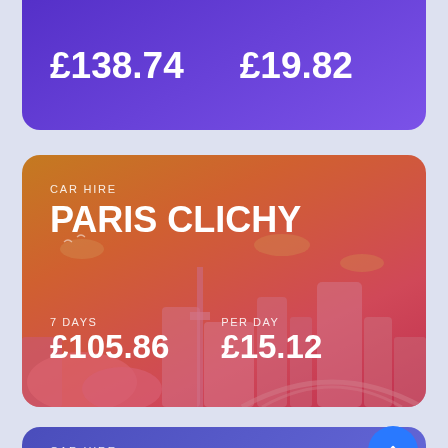£138.74   £19.82
CAR HIRE
PARIS CLICHY
7 DAYS £105.86   PER DAY £15.12
CAR HIRE
LYON PART DIEU TRAIN STATION